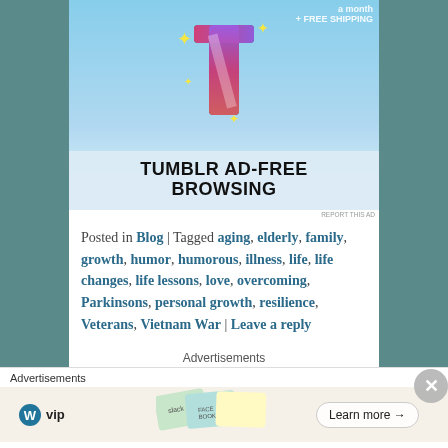[Figure (screenshot): Tumblr Ad-Free Browsing advertisement banner with Tumblr logo, sparkles on blue sky background, and text 'TUMBLR AD-FREE BROWSING']
REPORT THIS AD
Posted in Blog | Tagged aging, elderly, family, growth, humor, humorous, illness, life, life changes, life lessons, love, overcoming, Parkinsons, personal growth, resilience, Veterans, Vietnam War | Leave a reply
Advertisements
[Figure (screenshot): Blue advertisement banner placeholder]
Advertisements
[Figure (screenshot): WordPress VIP advertisement with card imagery and Learn more button]